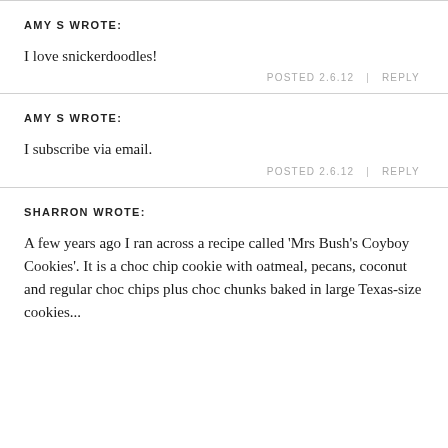AMY S WROTE:
I love snickerdoodles!
POSTED 2.6.12  |  REPLY
AMY S WROTE:
I subscribe via email.
POSTED 2.6.12  |  REPLY
SHARRON WROTE:
A few years ago I ran across a recipe called 'Mrs Bush's Coyboy Cookies'. It is a choc chip cookie with oatmeal, pecans, coconut and regular choc chips plus choc chunks baked in large Texas-size cookies...